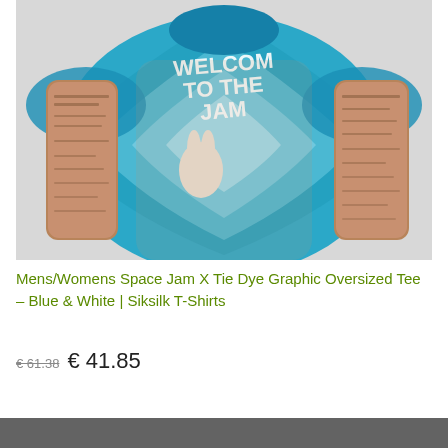[Figure (photo): Product photo of a man wearing a blue and white tie-dye graphic oversized t-shirt featuring Space Jam characters (Bugs Bunny, Lola Bunny, and others) with text 'WELCOME TO THE JAM'. The man has tattooed arms and is wearing the tee. Background is light grey.]
Mens/Womens Space Jam X Tie Dye Graphic Oversized Tee – Blue & White | Siksilk T-Shirts
€ 61.38  € 41.85